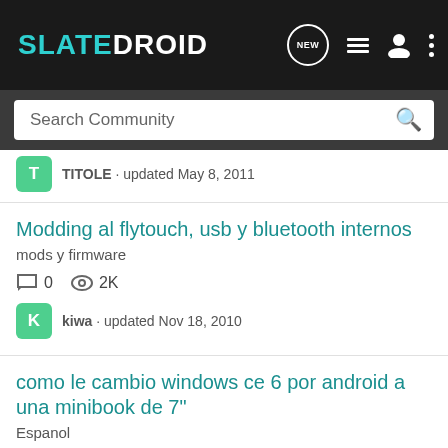SLATEDROID
Search Community
TITOLE · updated May 8, 2011
Modding al flytouch, usb y bluetooth internos
mods y firmware
0   2K
kiwa · updated Nov 18, 2010
como le cambio windows ce 6 por android a una minibook de 7"
Espanol
4   13K
porico · updated Aug 28, 2010